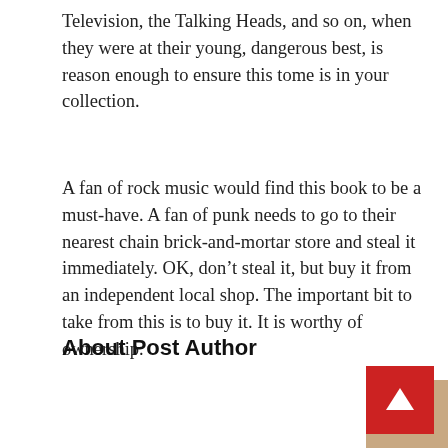Television, the Talking Heads, and so on, when they were at their young, dangerous best, is reason enough to ensure this tome is in your collection.
A fan of rock music would find this book to be a must-have. A fan of punk needs to go to their nearest chain brick-and-mortar store and steal it immediately. OK, don’t steal it, but buy it from an independent local shop. The important bit to take from this is to buy it. It is worthy of ownership.
About Post Author
[Figure (photo): Headshot photo of a young woman with long dark hair and glasses, partially visible, cropped.]